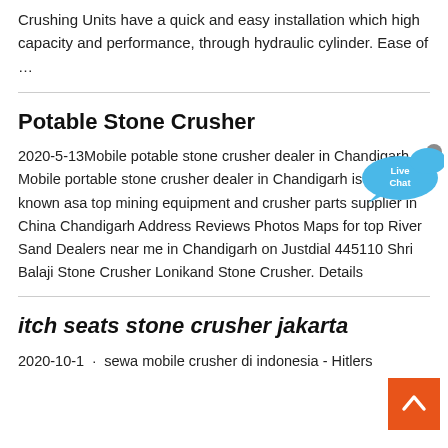Crushing Units have a quick and easy installation which high capacity and performance, through hydraulic cylinder. Ease of …
Potable Stone Crusher
2020-5-13Mobile potable stone crusher dealer in Chandigarh Mobile portable stone crusher dealer in Chandigarh is well known asa top mining equipment and crusher parts supplier in China Chandigarh Address Reviews Photos Maps for top River Sand Dealers near me in Chandigarh on Justdial 445110 Shri Balaji Stone Crusher Lonikand Stone Crusher. Details
itch seats stone crusher jakarta
2020-10-1 · sewa mobile crusher di indonesia - Hitlers